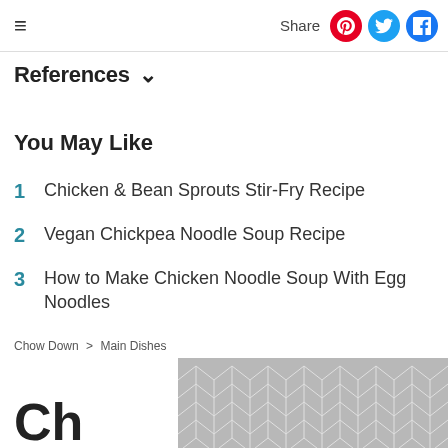≡  Share
References ∨
You May Like
1  Chicken & Bean Sprouts Stir-Fry Recipe
2  Vegan Chickpea Noodle Soup Recipe
3  How to Make Chicken Noodle Soup With Egg Noodles
Chow Down > Main Dishes
Ch